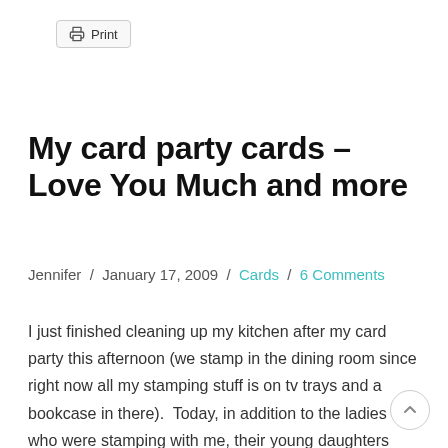Print
My card party cards – Love You Much and more
Jennifer / January 17, 2009 / Cards / 6 Comments
I just finished cleaning up my kitchen after my card party this afternoon (we stamp in the dining room since right now all my stamping stuff is on tv trays and a bookcase in there).  Today, in addition to the ladies who were stamping with me, their young daughters were with … Read More